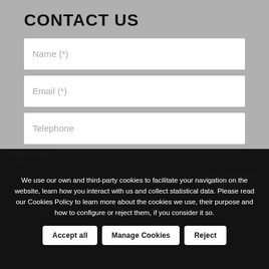CONTACT US
Name (*)
Email (*)
Telephone
Description (*)
We use our own and third-party cookies to facilitate your navigation on the website, learn how you interact with us and collect statistical data. Please read our Cookies Policy to learn more about the cookies we use, their purpose and how to configure or reject them, if you consider it so.
QUESTION?
Cookies Policy shown in link
Send